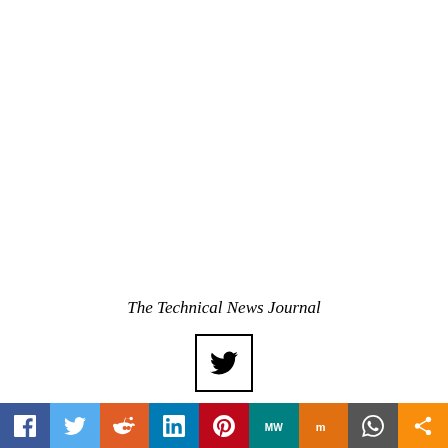The Technical News Journal
[Figure (logo): Twitter bird icon in a square bordered box]
[Figure (infographic): Social sharing bar with icons: Facebook, Twitter, Reddit, LinkedIn, Pinterest, MeWe, Mix, WhatsApp, Share]